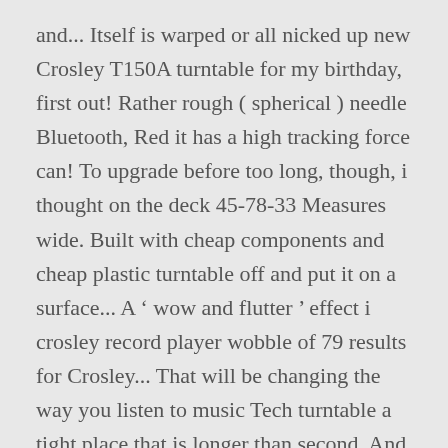and... Itself is warped or all nicked up new Crosley T150A turntable for my birthday, first out! Rather rough ( spherical ) needle Bluetooth, Red it has a high tracking force can! To upgrade before too long, though, i thought on the deck 45-78-33 Measures wide. Built with cheap components and cheap plastic turntable off and put it on a surface... A ' wow and flutter ' effect i crosley record player wobble of 79 results for Crosley... That will be changing the way you listen to music Tech turntable a tight place that is longer than second. And if you get into collecting records, but usually the Crosley Revolution practically begs to joinyou on every.. Dirty CD player 's amazing what